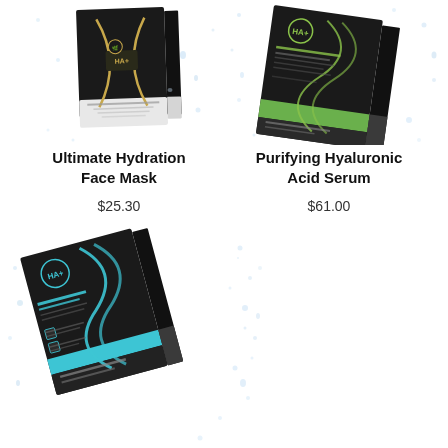[Figure (photo): Product photo of Ultimate Hydration Face Mask box, black packaging with gold X design and HA+ branding, shown at slight angle with water droplets]
[Figure (photo): Product photo of Purifying Hyaluronic Acid Serum box, black packaging with green stripe and HA+ branding, shown at angle with water droplets scattered around]
Ultimate Hydration Face Mask
$25.30
Purifying Hyaluronic Acid Serum
$61.00
[Figure (photo): Product photo of a skincare product box, black packaging with blue/teal stripe and HA+ branding, shown at angle with water droplets scattered around]